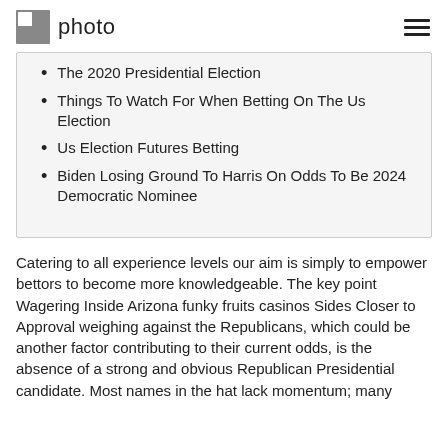photo
The 2020 Presidential Election
Things To Watch For When Betting On The Us Election
Us Election Futures Betting
Biden Losing Ground To Harris On Odds To Be 2024 Democratic Nominee
Catering to all experience levels our aim is simply to empower bettors to become more knowledgeable. The key point Wagering Inside Arizona funky fruits casinos Sides Closer to Approval weighing against the Republicans, which could be another factor contributing to their current odds, is the absence of a strong and obvious Republican Presidential candidate. Most names in the hat lack momentum; many